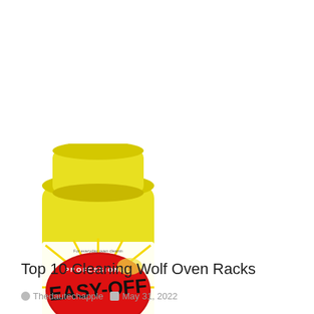[Figure (photo): Yellow can of Easy-Off Professional oven cleaner spray product]
Top 10 Cleaning Wolf Oven Racks
Thedautechapple   May 31, 2022